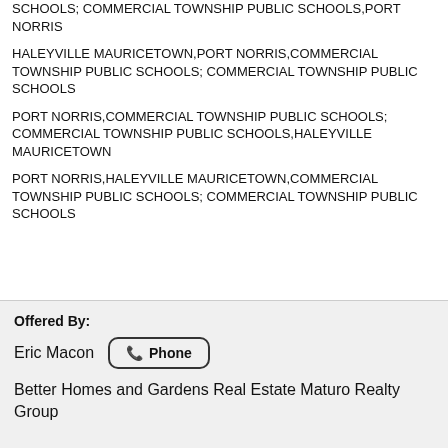SCHOOLS; COMMERCIAL TOWNSHIP PUBLIC SCHOOLS,PORT NORRIS
HALEYVILLE MAURICETOWN,PORT NORRIS,COMMERCIAL TOWNSHIP PUBLIC SCHOOLS; COMMERCIAL TOWNSHIP PUBLIC SCHOOLS
PORT NORRIS,COMMERCIAL TOWNSHIP PUBLIC SCHOOLS; COMMERCIAL TOWNSHIP PUBLIC SCHOOLS,HALEYVILLE MAURICETOWN
PORT NORRIS,HALEYVILLE MAURICETOWN,COMMERCIAL TOWNSHIP PUBLIC SCHOOLS; COMMERCIAL TOWNSHIP PUBLIC SCHOOLS
Offered By:
Eric Macon
Phone
Better Homes and Gardens Real Estate Maturo Realty Group